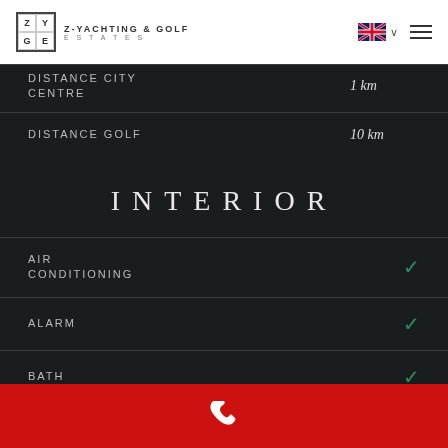[Figure (logo): Z-Yachting & Golf Estates logo with square grid mark and brand name]
| Feature | Value |
| --- | --- |
| DISTANCE CITY CENTRE | 1 km |
| DISTANCE GOLF | 10 km |
INTERIOR
| Feature | Present |
| --- | --- |
| AIR CONDITIONING | ✓ |
| ALARM | ✓ |
| BATH | ✓ |
| FLOOR HEATING | ✓ |